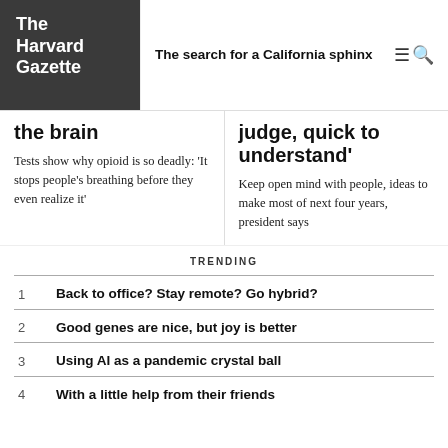The Harvard Gazette
The search for a California sphinx
the brain
Tests show why opioid is so deadly: 'It stops people's breathing before they even realize it'
judge, quick to understand'
Keep open mind with people, ideas to make most of next four years, president says
TRENDING
1 Back to office? Stay remote? Go hybrid?
2 Good genes are nice, but joy is better
3 Using AI as a pandemic crystal ball
4 With a little help from their friends